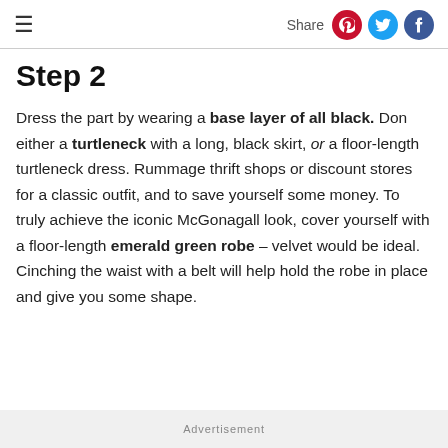≡  Share
Step 2
Dress the part by wearing a base layer of all black. Don either a turtleneck with a long, black skirt, or a floor-length turtleneck dress. Rummage thrift shops or discount stores for a classic outfit, and to save yourself some money. To truly achieve the iconic McGonagall look, cover yourself with a floor-length emerald green robe – velvet would be ideal. Cinching the waist with a belt will help hold the robe in place and give you some shape.
Advertisement